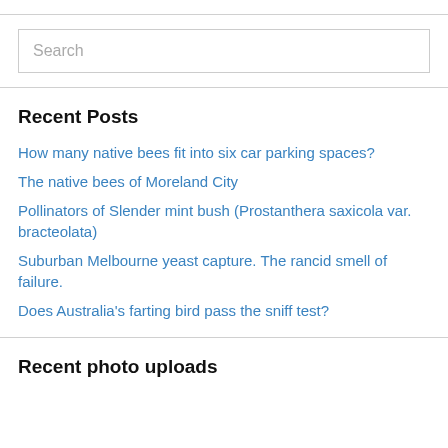Search
Recent Posts
How many native bees fit into six car parking spaces?
The native bees of Moreland City
Pollinators of Slender mint bush (Prostanthera saxicola var. bracteolata)
Suburban Melbourne yeast capture. The rancid smell of failure.
Does Australia's farting bird pass the sniff test?
Recent photo uploads